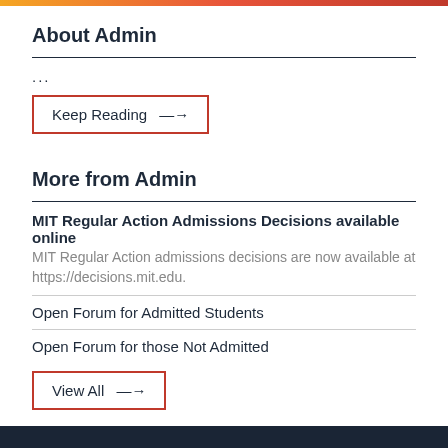About Admin
...
[Figure (other): Keep Reading button with arrow, red border]
More from Admin
MIT Regular Action Admissions Decisions available online
MIT Regular Action admissions decisions are now available at https://decisions.mit.edu.
Open Forum for Admitted Students
Open Forum for those Not Admitted
[Figure (other): View All button with arrow, red border]